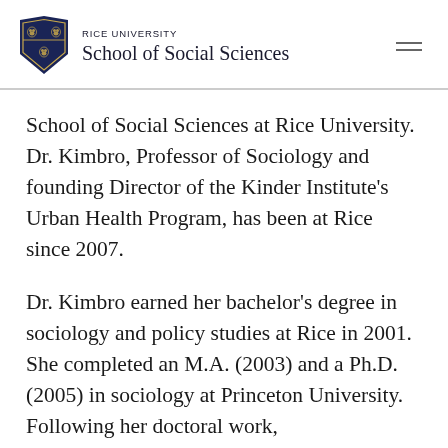RICE UNIVERSITY School of Social Sciences
School of Social Sciences at Rice University.  Dr. Kimbro, Professor of Sociology and founding Director of the Kinder Institute's Urban Health Program, has been at Rice since 2007.
Dr. Kimbro earned her bachelor's degree in sociology and policy studies at Rice in 2001.  She completed an M.A. (2003) and a Ph.D. (2005) in sociology at Princeton University.  Following her doctoral work,